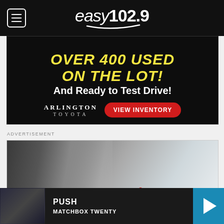easy102.9
[Figure (infographic): Arlington Toyota advertisement: Over 400 Used On The Lot! And Ready to Test Drive! with View Inventory button]
ADVERTISEMENT
[Figure (photo): Local Solutions advertisement showing a man in glasses talking on phone]
PUSH
MATCHBOX TWENTY